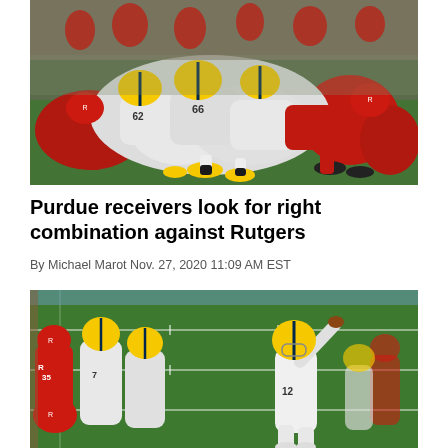[Figure (photo): Football players in a pile at the goal line, Michigan players in white uniforms with yellow helmets among Rutgers players in red uniforms]
Purdue receivers look for right combination against Rutgers
By Michael Marot Nov. 27, 2020 11:09 AM EST
[Figure (photo): Michigan quarterback number 12 throwing a pass while teammates block Rutgers defenders; players in white uniforms with maize and blue helmets]